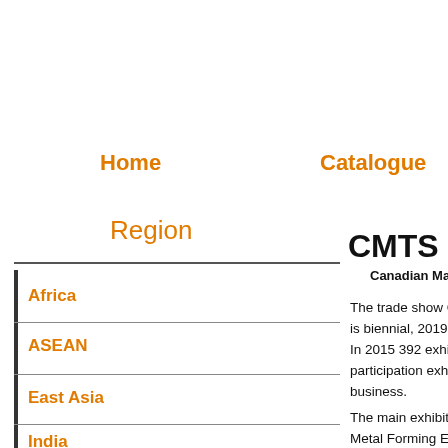Home    Catalogue    Ab
Region
CMTS
Canadian Manu
Africa
ASEAN
East Asia
India
The trade show CMTS - Canadian is biennial, 2019 with several trade In 2015 392 exhibitors seized the t participation exhibitors occupied 1 business.
The main exhibit sectors of the tra Metal Forming Equipment: full-sca